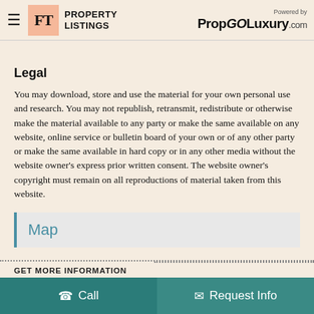FT PROPERTY LISTINGS | Powered by PropGOLuxury.com
Legal
You may download, store and use the material for your own personal use and research. You may not republish, retransmit, redistribute or otherwise make the material available to any party or make the same available on any website, online service or bulletin board of your own or of any other party or make the same available in hard copy or in any other media without the website owner's express prior written consent. The website owner's copyright must remain on all reproductions of material taken from this website.
Map
GET MORE INFORMATION
Call | Request Info